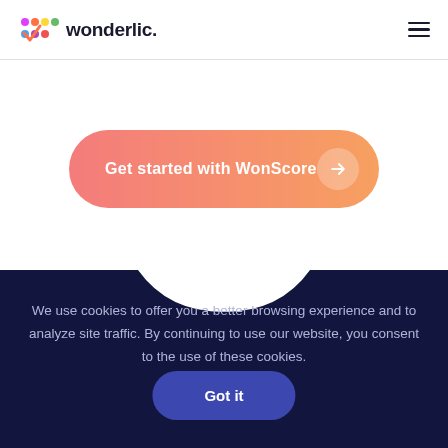wonderlic.
[Figure (illustration): Get started with WonScore button — gradient pink-to-orange rounded pill button with arrow circle on right]
[Figure (illustration): Dark navy background section with curved notch divider at top]
We use cookies to offer you a better browsing experience and to analyze site traffic. By continuing to use our website, you consent to the use of these cookies.
Got it